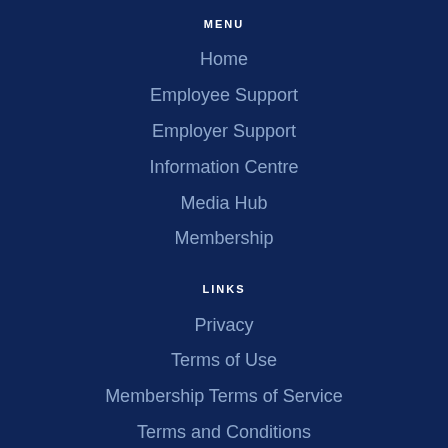MENU
Home
Employee Support
Employer Support
Information Centre
Media Hub
Membership
LINKS
Privacy
Terms of Use
Membership Terms of Service
Terms and Conditions